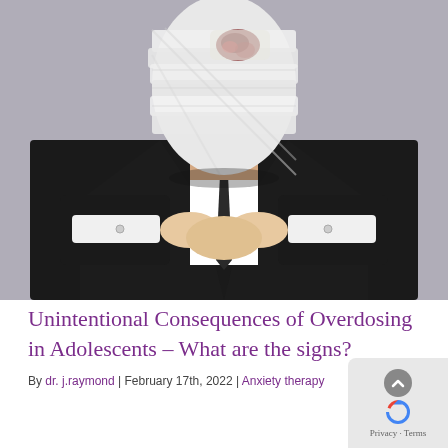[Figure (photo): A person wearing a dark suit with their face and head completely wrapped in white bandages. The person's hands are clasped at their throat/chest area. A wound or injury is visible through the bandages on the head. Background is grey.]
Unintentional Consequences of Overdosing in Adolescents – What are the signs?
By dr. j.raymond | February 17th, 2022 | Anxiety therapy